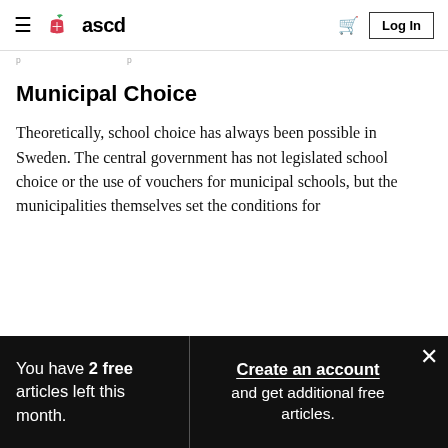ascd — Log In
p…p
Municipal Choice
Theoretically, school choice has always been possible in Sweden. The central government has not legislated school choice or the use of vouchers for municipal schools, but the municipalities themselves set the conditions for
You have 2 free articles left this month. Create an account and get additional free articles.